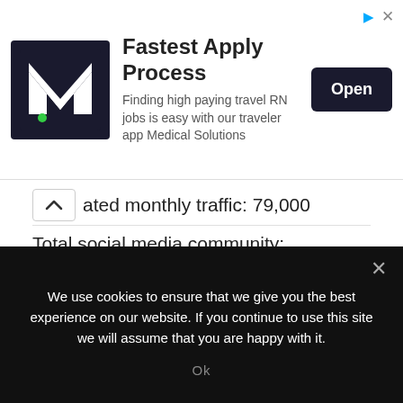[Figure (screenshot): Advertisement banner for Medical Solutions job app with M logo, 'Fastest Apply Process' headline, subtitle 'Finding high paying travel RN jobs is easy with our traveler app Medical Solutions', and an Open button]
ated monthly traffic: 79,000
Total social media community: 1,089,000!
5. Phuket 101
Themes: travel, leisure
[Figure (screenshot): Website screenshot of Phuket 101 - A Phuket Blog with Thousands Photos, showing nav menu and site name in blue]
We use cookies to ensure that we give you the best experience on our website. If you continue to use this site we will assume that you are happy with it.